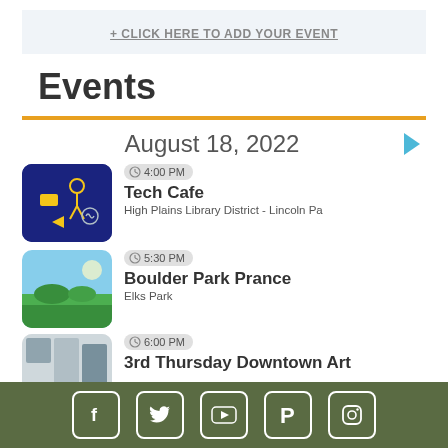+ CLICK HERE TO ADD YOUR EVENT
Events
August 18, 2022
4:00 PM | Tech Cafe | High Plains Library District - Lincoln Pa
5:30 PM | Boulder Park Prance | Elks Park
6:00 PM | 3rd Thursday Downtown Art
Facebook | Twitter | YouTube | Pinterest | Instagram